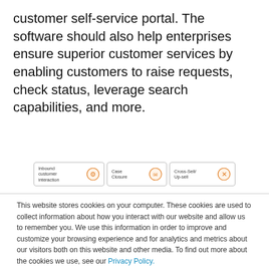customer self-service portal. The software should also help enterprises ensure superior customer services by enabling customers to raise requests, check status, leverage search capabilities, and more.
[Figure (screenshot): Three icon boxes: Inbound customer interaction, Case Closure, Cross-Sell/Up-sell]
This website stores cookies on your computer. These cookies are used to collect information about how you interact with our website and allow us to remember you. We use this information in order to improve and customize your browsing experience and for analytics and metrics about our visitors both on this website and other media. To find out more about the cookies we use, see our Privacy Policy.
If you decline, your information won't be tracked when you visit this website. A single cookie will be used in your browser to remember your preference not to be tracked.
Cookies Settings   Accept   Decline